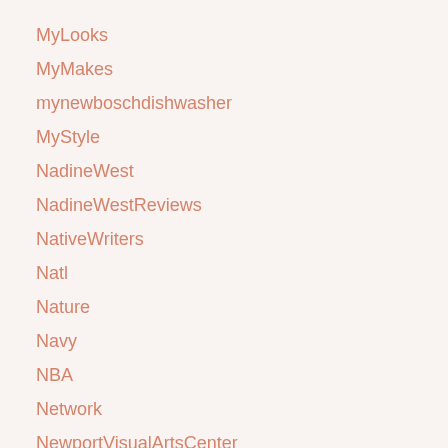MyLooks
MyMakes
mynewboschdishwasher
MyStyle
NadineWest
NadineWestReviews
NativeWriters
Natl
Nature
Navy
NBA
Network
NewportVisualArtsCenter
News